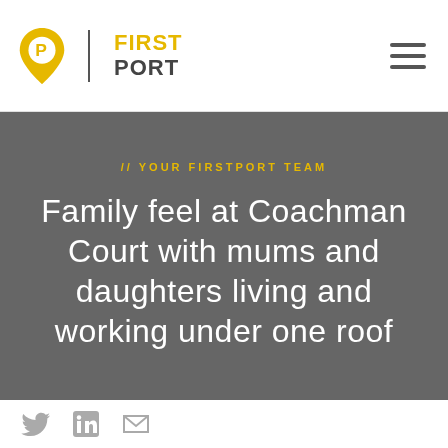First Port logo and navigation header
// YOUR FIRSTPORT TEAM
Family feel at Coachman Court with mums and daughters living and working under one roof
Social media icons: Twitter, LinkedIn, Email